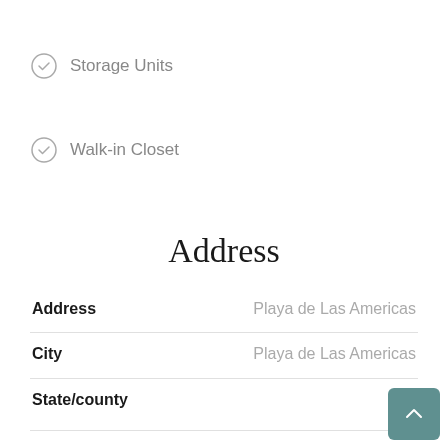Storage Units
Walk-in Closet
Address
Address: Playa de Las Americas
City: Playa de Las Americas
State/county